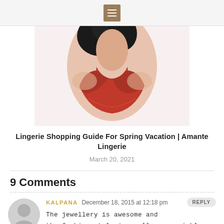Navigation menu icon
[Figure (photo): Photo of a woman wearing red lingerie, cropped to show torso and partial face with dark hair]
Lingerie Shopping Guide For Spring Vacation | Amante Lingerie
March 20, 2021
9 Comments
KALPANA   December 18, 2015 at 12:18 pm
The jewellery is awesome and the fashion style is really appreciable. the honey bee pattern earrings and